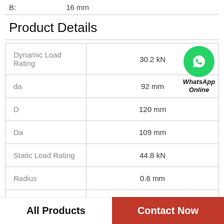B:    16 mm
Product Details
| Property | Value |
| --- | --- |
| Dynamic Load Rating | 30.2 kN |
| da | 92 mm |
| D | 120 mm |
| Da | 109 mm |
| Static Load Rating | 44.8 kN |
| Radius | 0.6 mm |
| d | 80 |
[Figure (logo): WhatsApp Online green circle logo with phone icon and text 'WhatsApp Online']
All Products    Contact Now